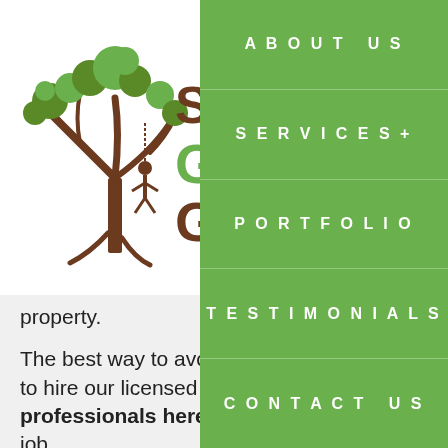[Figure (logo): Sydney Green Group logo with tree illustration and brown/green text]
property.
The best way to avoid to hire our licensed professionals here a job.
Here's why you should Ashcroft specialists
Our team of arbo the extensive amou qualified tree servic the years they have
ABOUT US | SERVICES+ | PORTFOLIO | TESTIMONIALS | CONTACT US